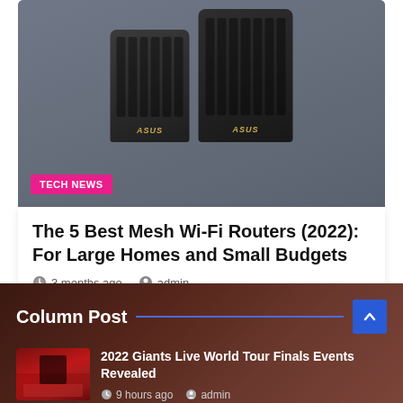[Figure (photo): ASUS mesh Wi-Fi router set (two black angular devices) on gray background with TECH NEWS badge overlay]
The 5 Best Mesh Wi-Fi Routers (2022): For Large Homes and Small Budgets
3 months ago   admin
Column Post
[Figure (photo): Thumbnail of wrestling/sports event with crowd and performer]
2022 Giants Live World Tour Finals Events Revealed
9 hours ago   admin